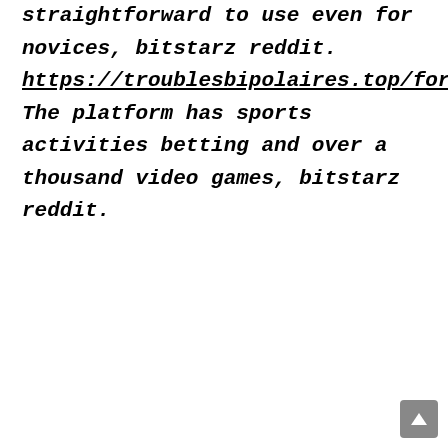straightforward to use even for novices, bitstarz reddit. https://troublesbipolaires.top/forum/profile/bitstarz36932015/ The platform has sports activities betting and over a thousand video games, bitstarz reddit.